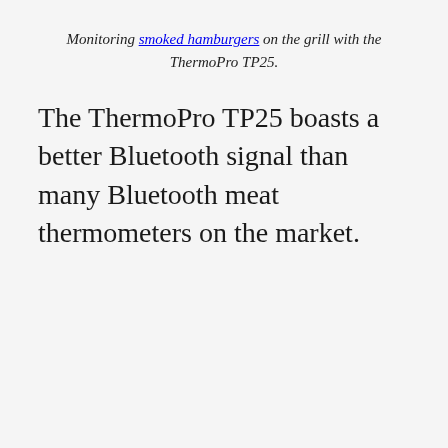Monitoring smoked hamburgers on the grill with the ThermoPro TP25.
The ThermoPro TP25 boasts a better Bluetooth signal than many Bluetooth meat thermometers on the market.